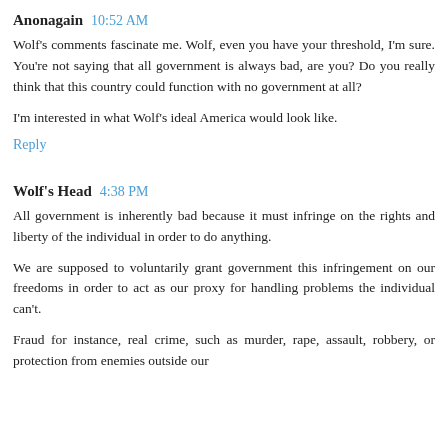Anonagain  10:52 AM
Wolf's comments fascinate me. Wolf, even you have your threshold, I'm sure. You're not saying that all government is always bad, are you? Do you really think that this country could function with no government at all?

I'm interested in what Wolf's ideal America would look like.
Reply
Wolf's Head  4:38 PM
All government is inherently bad because it must infringe on the rights and liberty of the individual in order to do anything.

We are supposed to voluntarily grant government this infringement on our freedoms in order to act as our proxy for handling problems the individual can't.

Fraud for instance, real crime, such as murder, rape, assault, robbery, or protection from enemies outside our